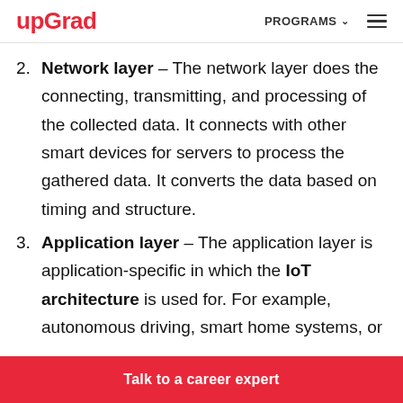upGrad | PROGRAMS
2. Network layer – The network layer does the connecting, transmitting, and processing of the collected data. It connects with other smart devices for servers to process the gathered data. It converts the data based on timing and structure.
3. Application layer – The application layer is application-specific in which the IoT architecture is used for. For example, autonomous driving, smart home systems, or
Talk to a career expert